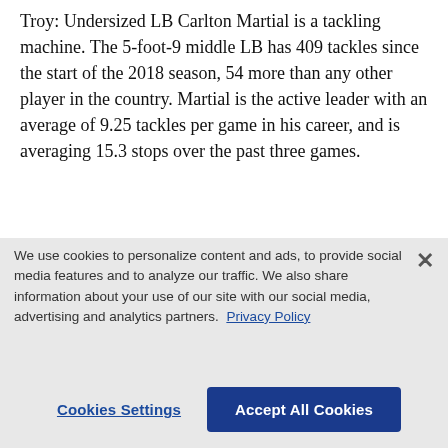Troy: Undersized LB Carlton Martial is a tackling machine. The 5-foot-9 middle LB has 409 tackles since the start of the 2018 season, 54 more than any other player in the country. Martial is the active leader with an average of 9.25 tackles per game in his career, and is averaging 15.3 stops over the past three games.
FACTS & FIGURES
Louisiana-Lafayette is 15-0 against division opponents
We use cookies to personalize content and ads, to provide social media features and to analyze our traffic. We also share information about your use of our site with our social media, advertising and analytics partners. Privacy Policy